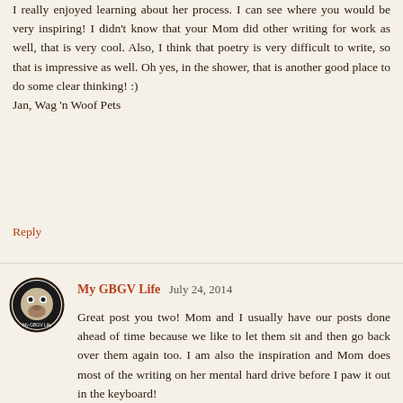I really enjoyed learning about her process. I can see where you would be very inspiring! I didn't know that your Mom did other writing for work as well, that is very cool. Also, I think that poetry is very difficult to write, so that is impressive as well. Oh yes, in the shower, that is another good place to do some clear thinking! :)
Jan, Wag 'n Woof Pets
Reply
My GBGV Life  July 24, 2014
Great post you two! Mom and I usually have our posts done ahead of time because we like to let them sit and then go back over them again too. I am also the inspiration and Mom does most of the writing on her mental hard drive before I paw it out in the keyboard!
Reply
AnnStaub  July 24, 2014
Oz, it sounds like your Ma does the same thing as I do with the